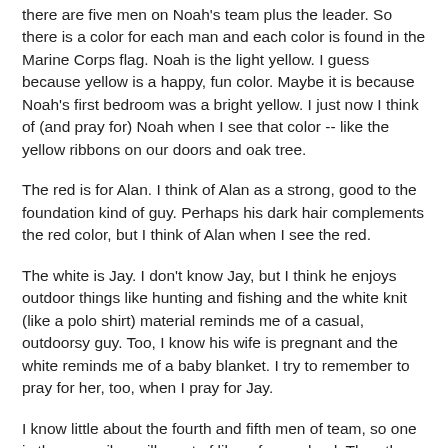there are five men on Noah's team plus the leader. So there is a color for each man and each color is found in the Marine Corps flag. Noah is the light yellow. I guess because yellow is a happy, fun color. Maybe it is because Noah's first bedroom was a bright yellow. I just now I think of (and pray for) Noah when I see that color -- like the yellow ribbons on our doors and oak tree.
The red is for Alan. I think of Alan as a strong, good to the foundation kind of guy. Perhaps his dark hair complements the red color, but I think of Alan when I see the red.
The white is Jay. I don't know Jay, but I think he enjoys outdoor things like hunting and fishing and the white knit (like a polo shirt) material reminds me of a casual, outdoorsy guy. Too, I know his wife is pregnant and the white reminds me of a baby blanket. I try to remember to pray for her, too, when I pray for Jay.
I know little about the fourth and fifth men of team, so one is the gray-silver silk, sort of like a foggy cloud. The other is the black stripe, since I know absolutely nothing about him, not